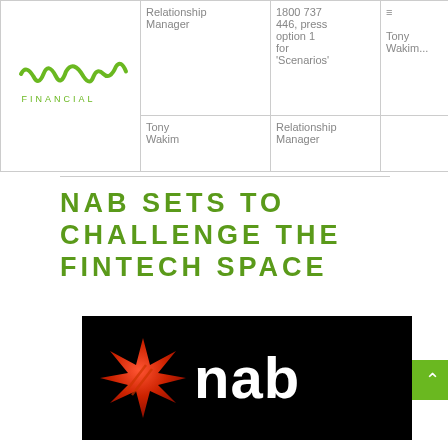| Logo | Role | Contact | Name |
| --- | --- | --- | --- |
| Vow Financial | Relationship Manager | 1800 737 446, press option 1 for 'Scenarios' | Tony Wakim |
| Tony Wakim | Relationship Manager |  | Tony Wakim... |
NAB SETS TO CHALLENGE THE FINTECH SPACE
[Figure (logo): NAB (National Australia Bank) logo — black background with a red star and white 'nab' text in bold]